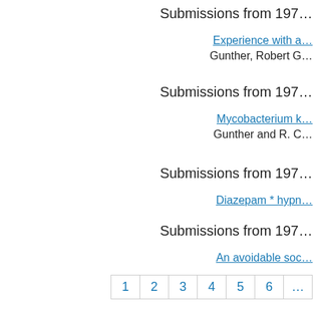Submissions from 197…
Experience with a…
Gunther, Robert G…
Submissions from 197…
Mycobacterium k…
Gunther and R. C…
Submissions from 197…
Diazepam * hypn…
Submissions from 197…
An avoidable soc…
1 2 3 4 5 6 …